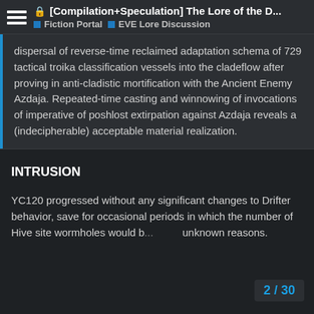[Compilation+Speculation] The Lore of the D... | Fiction Portal | EVE Lore Discussion
dispersal of reverse-time reclaimed adaptation schema of 729 tactical troika classification vessels into the cladeflow after proving in anti-cladistic mortification with the Ancient Enemy Azdaja. Repeated-time casting and winnowing of invocations of imperative of poshlost extirpation against Azdaja reveals a (indecipherable) acceptable material realization.
INTRUSION
YC120 progressed without any significant changes to Drifter behavior, save for occasional periods in which the number of Hive site wormholes would b... unknown reasons.
2 / 30